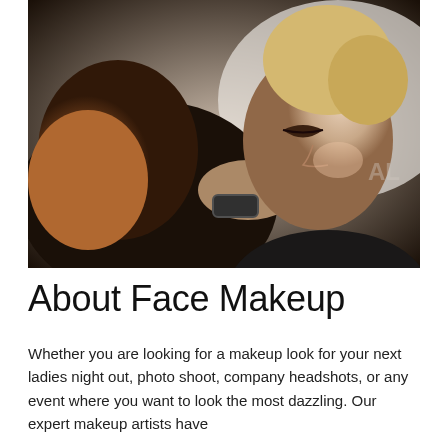[Figure (photo): A makeup artist applying mascara or eyeliner to a woman's eye. The makeup artist has reddish-brown hair and is wearing a black uniform. The client has blonde hair styled up and her eyes are closed. The setting appears to be a professional salon or beauty studio.]
About Face Makeup
Whether you are looking for a makeup look for your next ladies night out, photo shoot, company headshots, or any event where you want to look the most dazzling. Our expert makeup artists have